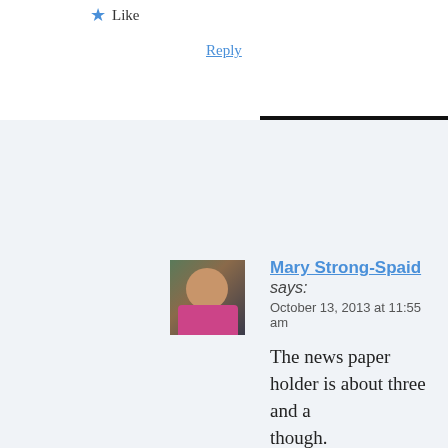★ Like
Reply
Mary Strong-Spaid says:
October 13, 2013 at 11:55 am
The news paper holder is about three and a though. And it sits on the edge of the road, overlook My husband diligently watches over the bir he even bought them some little crickets an cleans out the nest after they have gone anc again. The bad thing about the newspaper h papers get shoved in there—but one mornin the ground. Maybe some kids did it, I don't bluebirds sitting silently in the nest. The ot move across the rocky ground. They only h gathered them up, and put the nest and the newspaper holder, hoping the mom and da